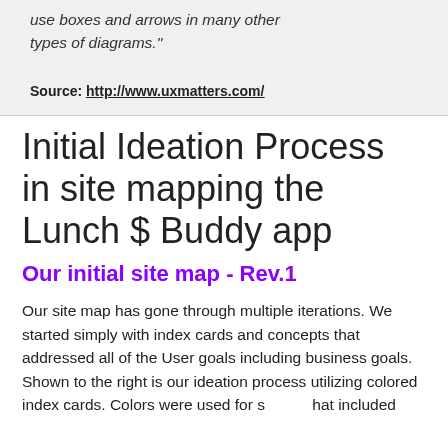use boxes and arrows in many other types of diagrams."
Source: http://www.uxmatters.com/
Initial Ideation Process in site mapping the Lunch $ Buddy app
Our initial site map - Rev.1
Our site map has gone through multiple iterations. We started simply with index cards and concepts that addressed all of the User goals including business goals. Shown to the right is our ideation process utilizing colored index cards. Colors were used for s that included